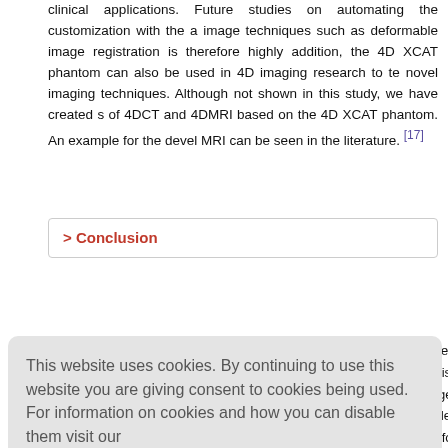clinical applications. Future studies on automating the customization with the a image techniques such as deformable image registration is therefore highly addition, the 4D XCAT phantom can also be used in 4D imaging research to te novel imaging techniques. Although not shown in this study, we have created s of 4DCT and 4DMRI based on the 4D XCAT phantom. An example for the devel MRI can be seen in the literature. [17]
> Conclusion
review, ana cteristics of ge generatio lts demons om for 4D R
This website uses cookies. By continuing to use this website you are giving consent to cookies being used. For information on cookies and how you can disable them visit our
Privacy and Cookie Policy.
AGREE & PROCEED
M, Jiang S of AAPM T
Med Phys 2006;33:3874-900.